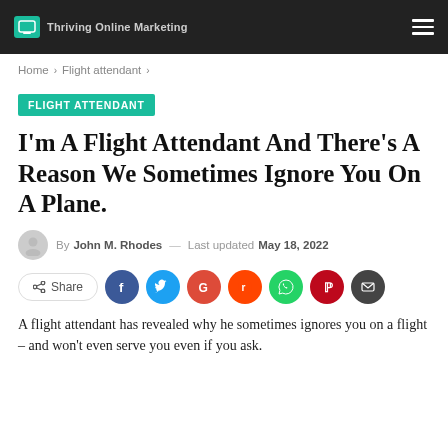Thriving Online Marketing
Home > Flight attendant >
FLIGHT ATTENDANT
I'm A Flight Attendant And There's A Reason We Sometimes Ignore You On A Plane.
By John M. Rhodes — Last updated May 18, 2022
[Figure (other): Social share buttons: Share, Facebook, Twitter, Google, Reddit, WhatsApp, Pinterest, Email]
A flight attendant has revealed why he sometimes ignores you on a flight – and won't even serve you even if you ask.